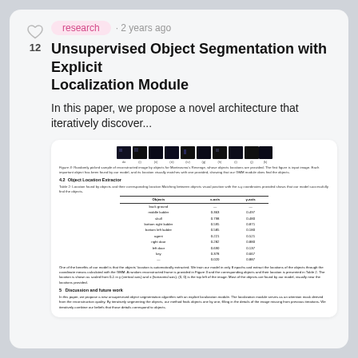❤ 12
research · 2 years ago
Unsupervised Object Segmentation with Explicit Localization Module
In this paper, we propose a novel architecture that iteratively discover...
[Figure (photo): Row of small dark reconstructed image thumbnails labeled do, (i), (ii), (iii), (iv), (g), (h), (i), (j), (k)]
Figure 3: Randomly picked sample of reconstructed image by objects for Montezuma's Revenge, whose objects locations are provided. The first figure is input image. Each important object has been found by our model, and its location visually matches with one provided, showing that our GMM module does find the objects.
4.2 Object Location Extractor
Table 2: Location found by objects and their corresponding location Matching between objects visual position with the x-y coordinates provided shows that our model successfully find the objects.
| Objects | x-axis | y-axis |
| --- | --- | --- |
| back ground | — | — |
| middle ladder | 0.363 | 0.497 |
| skull | 0.798 | 0.480 |
| bottom right ladder | 0.595 | 0.871 |
| bottom left ladder | 0.585 | 0.180 |
| agent | 0.221 | 0.521 |
| right door | 0.282 | 0.880 |
| left door | 0.690 | 0.137 |
| key | 0.378 | 0.667 |
| — | 0.020 | 0.887 |
One of the benefits of our model is that the objects' location is automatically extracted. We train our model in only 8 epochs and extract the locations of the objects through the coordinate means calculated with the GMM. A random reconstructed frame is provided in Figure 3 and the corresponding objects and their location is presented in Table 2. The location is shown as scaled from 0-1 in y (vertical axis) and x (horizontal axis). (0, 0) is the top left of the image. Most of the objects are found by our model, visually near the locations provided.
5 Discussion and future work
In this paper, we propose a new unsupervised object segmentation algorithm with an explicit localization module. The localization module serves as an attention mask derived from the reconstruction quality. By iteratively segmenting the objects, our method finds objects one by one, filling in the details of the image missing from previous iterations. We iteratively combine our beliefs that those details correspond to objects.